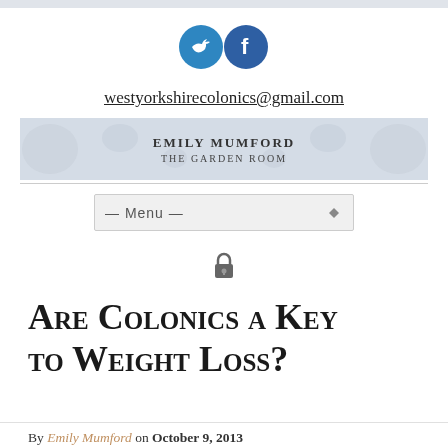[Figure (logo): Twitter and Facebook social media icons in blue circles]
westyorkshirecolonics@gmail.com
[Figure (illustration): Decorative floral banner with text: EMILY MUMFORD / THE GARDEN ROOM]
[Figure (other): Navigation menu dropdown — Menu —]
[Figure (other): Lock/padlock icon]
Are Colonics a Key to Weight Loss?
By Emily Mumford on October 9, 2013 in Colonic Hydrotherapy, The Garden Room Blog